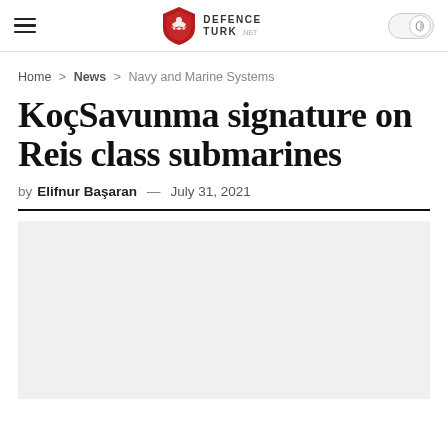DEFENCE TURK .NET
Home > News > Navy and Marine Systems
KoçSavunma signature on Reis class submarines
by Elifnur Başaran — July 31, 2021
[Figure (photo): Grey/light placeholder image area for article photo]